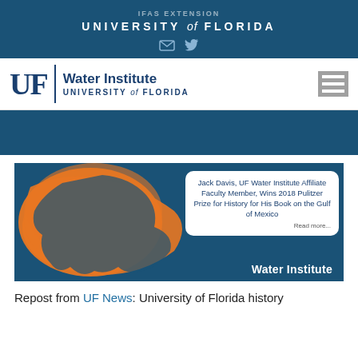UNIVERSITY of FLORIDA
[Figure (logo): UF Water Institute University of Florida logo with hamburger menu icon]
[Figure (illustration): Promotional banner with orange Gulf of Mexico silhouette on blue background with text: Jack Davis, UF Water Institute Affiliate Faculty Member, Wins 2018 Pulitzer Prize for History for His Book on the Gulf of Mexico. Read more... Water Institute]
Repost from UF News: University of Florida history